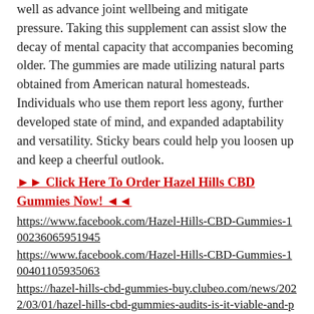well as advance joint wellbeing and mitigate pressure. Taking this supplement can assist slow the decay of mental capacity that accompanies becoming older. The gummies are made utilizing natural parts obtained from American natural homesteads. Individuals who use them report less agony, further developed state of mind, and expanded adaptability and versatility. Sticky bears could help you loosen up and keep a cheerful outlook.
►► Click Here To Order Hazel Hills CBD Gummies Now! ◄◄
https://www.facebook.com/Hazel-Hills-CBD-Gummies-100236065951945
https://www.facebook.com/Hazel-Hills-CBD-Gummies-100401105935063
https://hazel-hills-cbd-gummies-buy.clubeo.com/news/2022/03/01/hazel-hills-cbd-gummies-audits-is-it-viable-and-protected-to-ut
https://hazel-hills-cbd-gummies-